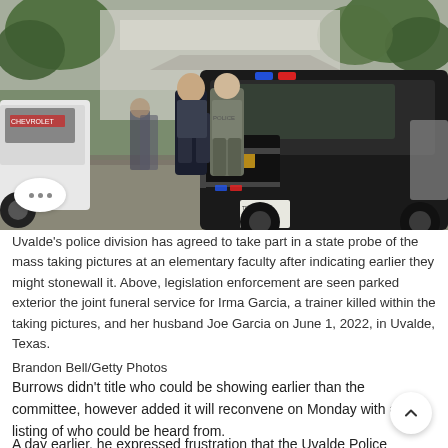[Figure (photo): Law enforcement officers in tactical gear standing outside near police vehicles, including a black Chevrolet SUV with emergency lights, parked outside a building with trees in the background.]
Uvalde's police division has agreed to take part in a state probe of the mass taking pictures at an elementary faculty after indicating earlier they might stonewall it. Above, legislation enforcement are seen parked exterior the joint funeral service for Irma Garcia, a trainer killed within the taking pictures, and her husband Joe Garcia on June 1, 2022, in Uvalde, Texas.
Brandon Bell/Getty Photos
Burrows didn't title who could be showing earlier than the committee, however added it will reconvene on Monday with a listing of who could be heard from.
A day earlier, he expressed frustration that the Uvalde Police